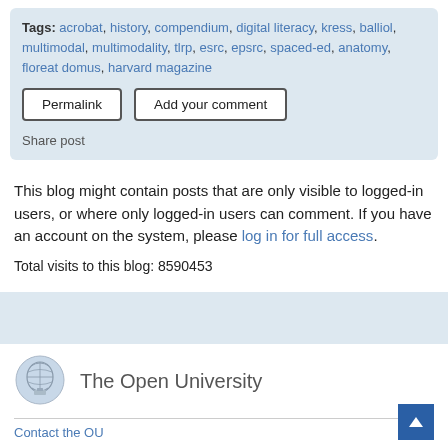Tags: acrobat, history, compendium, digital literacy, kress, balliol, multimodal, multimodality, tlrp, esrc, epsrc, spaced-ed, anatomy, floreat domus, harvard magazine
Permalink  Add your comment
Share post
This blog might contain posts that are only visible to logged-in users, or where only logged-in users can comment. If you have an account on the system, please log in for full access.
Total visits to this blog: 8590453
[Figure (logo): The Open University logo — a crest/shield illustration in grey-blue tones alongside the text 'The Open University']
Contact the OU